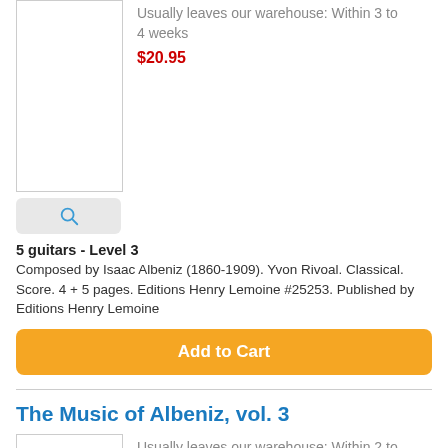Usually leaves our warehouse: Within 3 to 4 weeks
$20.95
5 guitars - Level 3
Composed by Isaac Albeniz (1860-1909). Yvon Rivoal. Classical. Score. 4 + 5 pages. Editions Henry Lemoine #25253. Published by Editions Henry Lemoine
Add to Cart
The Music of Albeniz, vol. 3
Usually leaves our warehouse: Within 2 to 3 weeks
$15.95